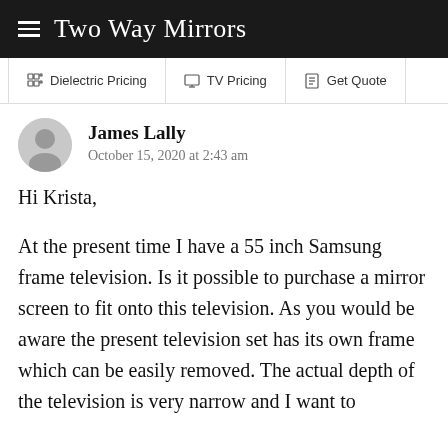Two Way Mirrors
Dielectric Pricing | TV Pricing | Get Quote
James Lally
October 15, 2020 at 2:43 am
Hi Krista,

At the present time I have a 55 inch Samsung frame television. Is it possible to purchase a mirror screen to fit onto this television. As you would be aware the present television set has its own frame which can be easily removed. The actual depth of the television is very narrow and I want to